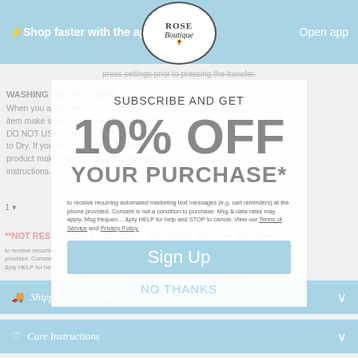Shop faster with the app  |  Open app
[Figure (logo): Rose Boutique circular logo with sunflower emblem]
press settings prior to pressing the transfer.
SUBSCRIBE AND GET
10% OFF
YOUR PURCHASE*
WASHING INSTRUCTIONS
When you apply the screen print to your item make sure you turn inside out to wash DO NOT USE FABRIC SOFTENER; Hang to Dry. If you are selling your finished product make sure you share these care instructions.
1
**NOT RESPONSIBLE FOR TOPS, BOTTOMS, BAGS or ANY Items
to receive recurring automated marketing text messages (e.g. cart reminders) at the phone provided. Consent is not a condition to purchase. Msg & data rates may apply. Msg frequency reply HELP for help and STOP to cancel. View our Terms of Service and Privacy Policy.
Sign Up
NO THANKS
Shipping & Returns
Care Instructions